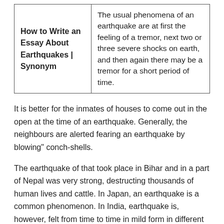| How to Write an Essay About Earthquakes | Synonym | The usual phenomena of an earthquake are at first the feeling of a tremor, next two or three severe shocks on earth, and then again there may be a tremor for a short period of time. |
It is better for the inmates of houses to come out in the open at the time of an earthquake. Generally, the neighbours are alerted fearing an earthquake by blowing" conch-shells.
The earthquake of that took place in Bihar and in a part of Nepal was very strong, destructing thousands of human lives and cattle. In Japan, an earthquake is a common phenomenon. In India, earthquake is, however, felt from time to time in mild form in different parts of the